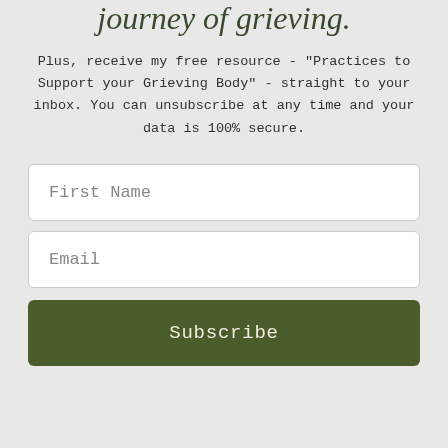journey of grieving.
Plus, receive my free resource - "Practices to Support your Grieving Body" - straight to your inbox. You can unsubscribe at any time and your data is 100% secure.
First Name
Email
Subscribe